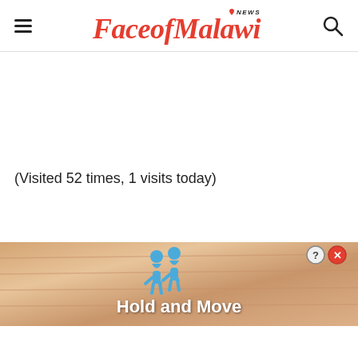FaceofMalawi NEWS
(Visited 52 times, 1 visits today)
[Figure (screenshot): Advertisement banner with 'Hold and Move' text, two blue cartoon figures, and control buttons (? and X) on a wooden/sandy background]